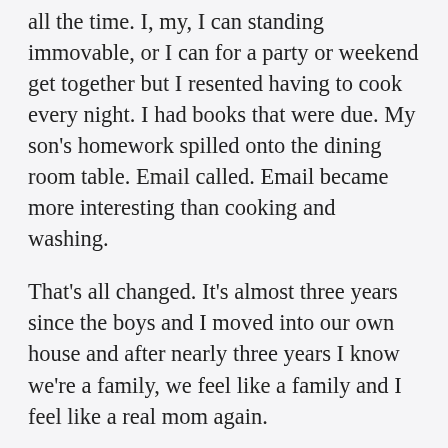all the time. I, my, I can standing immovable, or I can for a party or weekend get together but I resented having to cook every night. I had books that were due. My son's homework spilled onto the dining room table. Email called. Email became more interesting than cooking and washing.
That's all changed. It's almost three years since the boys and I moved into our own house and after nearly three years I know we're a family, we feel like a family and I feel like a real mom again.
Which means I'm not serving the kids pizza every week now or a bi-weekly mac and cheese anymore.
I didn't like that food, and I didn't eat that food so I'd stand at the counter with my bowl of cereal while they gobbled their Kraft macaroni so they could return to their rooms and resume playing.
It was lonely eating cereal or sandwiches on my own